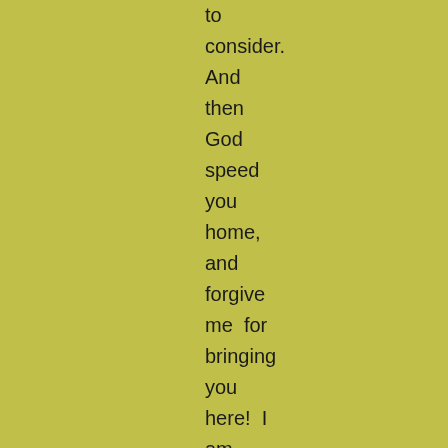to consider. And then God speed you home, and forgive me for bringing you here! I am destined to die in this place.